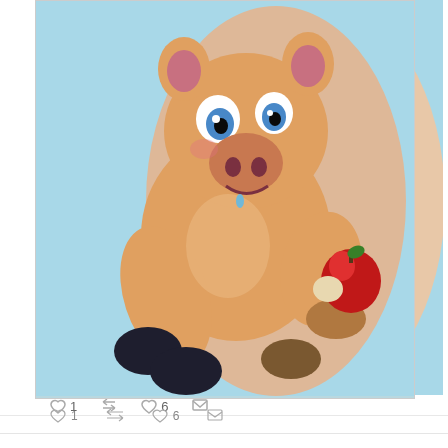[Figure (photo): A tattoo of a cartoon pig holding a red apple, on a person's arm. The pig is pink/orange with blue eyes, black hooves, and is seated, holding a partially bitten apple in one trotter.]
1   [retweet icon]   6   [envelope icon]
Another set of perfect piggies came in from @YeyesShamrock.
Reyes ✪ @YeyesShamrock · 16h